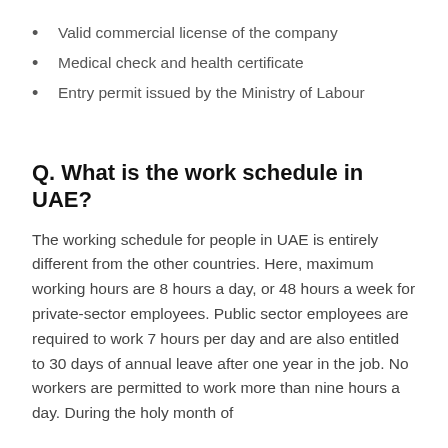Valid commercial license of the company
Medical check and health certificate
Entry permit issued by the Ministry of Labour
Q. What is the work schedule in UAE?
The working schedule for people in UAE is entirely different from the other countries. Here, maximum working hours are 8 hours a day, or 48 hours a week for private-sector employees. Public sector employees are required to work 7 hours per day and are also entitled to 30 days of annual leave after one year in the job. No workers are permitted to work more than nine hours a day. During the holy month of